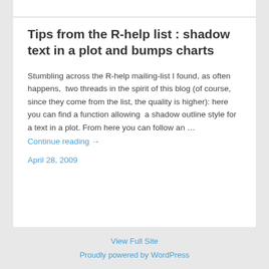Tips from the R-help list : shadow text in a plot and bumps charts
Stumbling across the R-help mailing-list I found, as often happens,  two threads in the spirit of this blog (of course, since they come from the list, the quality is higher): here you can find a function allowing  a shadow outline style for a text in a plot. From here you can follow an …
Continue reading →
April 28, 2009
View Full Site
Proudly powered by WordPress